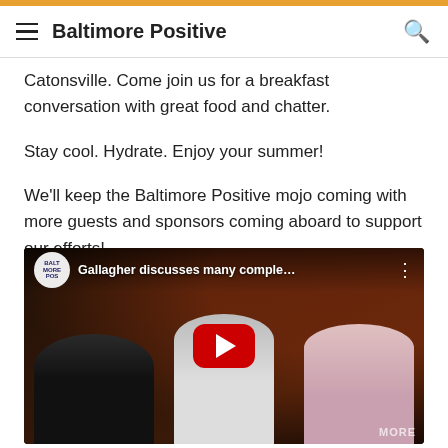Baltimore Positive
Catonsville. Come join us for a breakfast conversation with great food and chatter.
Stay cool. Hydrate. Enjoy your summer!
We'll keep the Baltimore Positive mojo coming with more guests and sponsors coming aboard to support our efforts!
[Figure (screenshot): YouTube video embed thumbnail showing three men in a restaurant setting wearing headphones, with a red YouTube play button overlay. Title reads 'Gallagher discusses many comple...' with Baltimore Positive logo.]